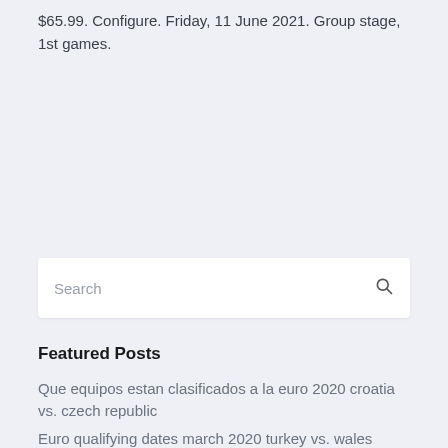$65.99. Configure. Friday, 11 June 2021. Group stage, 1st games.
[Figure (screenshot): Search input box with placeholder text 'Search' and a magnifying glass icon on the right]
Featured Posts
Que equipos estan clasificados a la euro 2020 croatia vs. czech republic
Euro qualifying dates march 2020 turkey vs. wales